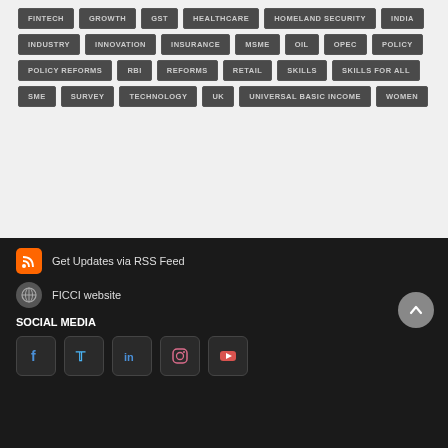FINTECH
GROWTH
GST
HEALTHCARE
HOMELAND SECURITY
INDIA
INDUSTRY
INNOVATION
INSURANCE
MSME
OIL
OPEC
POLICY
POLICY REFORMS
RBI
REFORMS
RETAIL
SKILLS
SKILLS FOR ALL
SME
SURVEY
TECHNOLOGY
UK
UNIVERSAL BASIC INCOME
WOMEN
Get Updates via RSS Feed
FICCI website
SOCIAL MEDIA
[Figure (logo): Social media icons: Facebook, Twitter, LinkedIn, Instagram, YouTube]